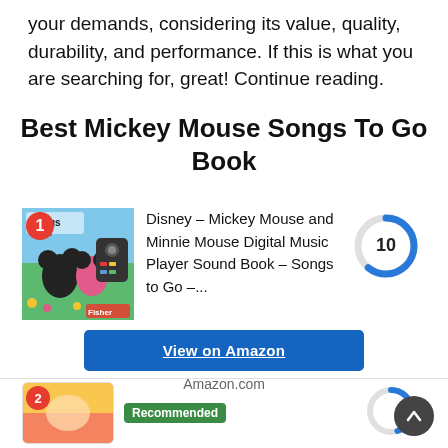your demands, considering its value, quality, durability, and performance. If this is what you are searching for, great! Continue reading.
Best Mickey Mouse Songs To Go Book
[Figure (photo): Product image of Disney Mickey Mouse and Minnie Mouse Songs to Go book with rank badge #1]
Disney – Mickey Mouse and Minnie Mouse Digital Music Player Sound Book – Songs to Go –...
[Figure (donut-chart): Score circle showing 10 out of 10, partial blue arc on grey circle]
View on Amazon
Amazon.com
[Figure (photo): Second product image with rank badge #2 and Recommended badge]